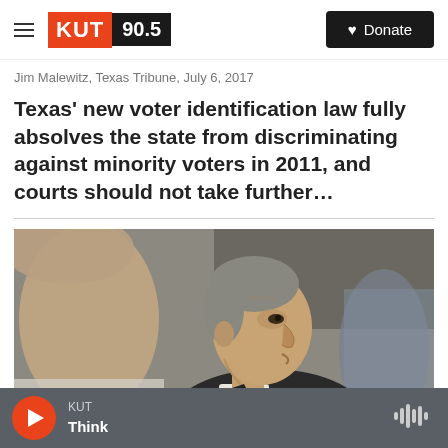KUT 90.5 | Donate
Jim Malewitz, Texas Tribune,  July 6, 2017
Texas' new voter identification law fully absolves the state from discriminating against minority voters in 2011, and courts should not take further...
[Figure (photo): Profile photograph of a man in a suit looking to the right, with a blurred woman in the foreground on the left and blurred figures in the background.]
KUT Think